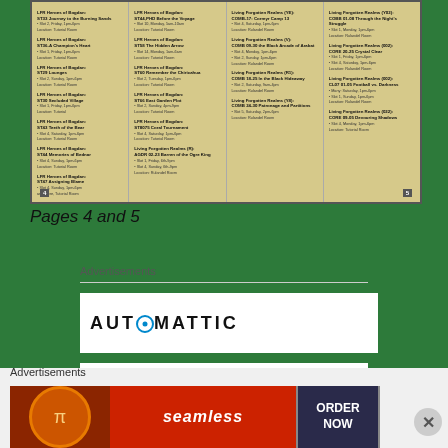[Figure (photo): Photograph of an open booklet showing pages 4 and 5 with program listings for Heroes of Bogdan and Living Forgotten Realms events, printed in small text in multiple columns on cream-colored paper.]
Pages 4 and 5
Advertisements
AUTOMATTIC
Build a better web
Advertisements
[Figure (photo): Seamless food delivery advertisement banner with pizza image on the left, seamless logo in the center, and ORDER NOW button on the right.]